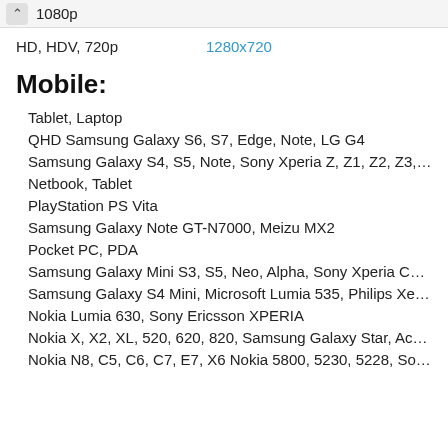1080p
HD, HDV, 720p   1280x720
Mobile:
Tablet, Laptop
QHD Samsung Galaxy S6, S7, Edge, Note, LG G4
Samsung Galaxy S4, S5, Note, Sony Xperia Z, Z1, Z2, Z3, HTC One, Len
Netbook, Tablet
PlayStation PS Vita
Samsung Galaxy Note GT-N7000, Meizu MX2
Pocket PC, PDA
Samsung Galaxy Mini S3, S5, Neo, Alpha, Sony Xperia Compact Z1, Z2,
Samsung Galaxy S4 Mini, Microsoft Lumia 535, Philips Xenium, LG L90
Nokia Lumia 630, Sony Ericsson XPERIA
Nokia X, X2, XL, 520, 620, 820, Samsung Galaxy Star, Ace, ASUS Zenfo
Nokia N8, C5, C6, C7, E7, X6 Nokia 5800, 5230, 5228, Sony Ericsson Vi